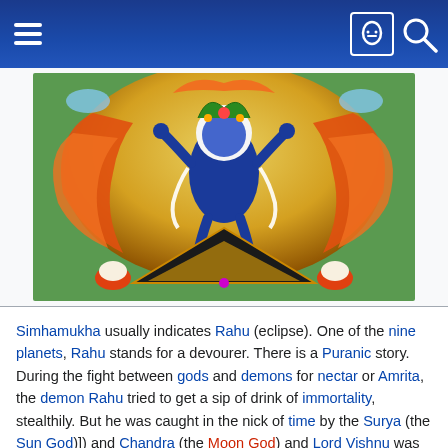Navigation header with hamburger menu, user icon, and search icon
[Figure (illustration): Tibetan Buddhist thangka illustration depicting Simhamukha, a blue-bodied deity with a lion head, dancing amid flames, holding ritual implements, standing above a triangular geometric symbol with ornate decorative elements.]
Simhamukha usually indicates Rahu (eclipse). One of the nine planets, Rahu stands for a devourer. There is a Puranic story. During the fight between gods and demons for nectar or Amrita, the demon Rahu tried to get a sip of drink of immortality, stealthily. But he was caught in the nick of time by the Surya (the Sun God)]) and Chandra (the Moon God) and Lord Vishnu was informed instantly. He cut off Rahu's head. But the head became immortal, having